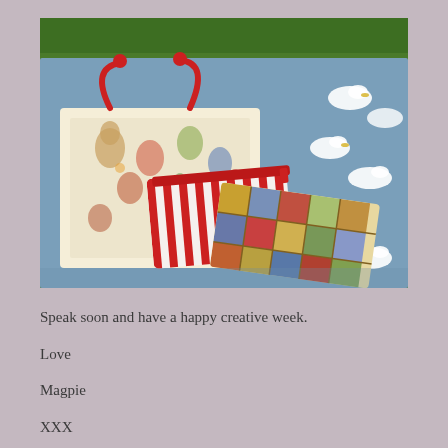[Figure (photo): Photo of fabric bags and pouches laid out on a blue duck-patterned blanket on grass. Items include a bag with farm animal (chicken/hen) print with red handles, a red and white striped zip pouch, and a patchwork-style quilted fabric piece. Photographed outdoors on green grass.]
Speak soon and have a happy creative week.
Love
Magpie
XXX